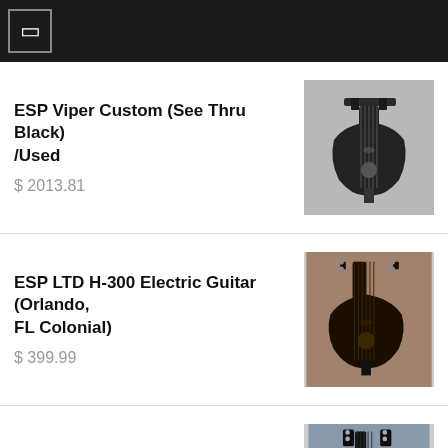☰ (menu icon)
ESP Viper Custom (See Thru Black)/Used
$ 2013.81
ESP LTD H-300 Electric Guitar (Orlando, FL Colonial)
$ 399.99
ESP KH-2 Electric Guitar (Richmond, VA)
$ 2399.99
This site uses cookies. By continuing to browse the site you are agreeing to our use of cookies.
ok